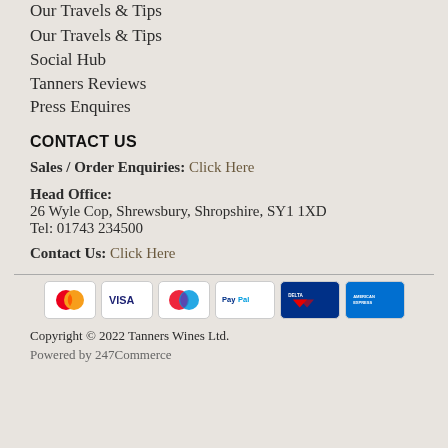Wine in Time Wine Club
Our Travels & Tips
Social Hub
Tanners Reviews
Press Enquires
CONTACT US
Sales / Order Enquiries: Click Here
Head Office:
26 Wyle Cop, Shrewsbury, Shropshire, SY1 1XD
Tel: 01743 234500
Contact Us: Click Here
[Figure (other): Payment method logos: Mastercard, Visa, Mastercard (Maestro), PayPal, Delta, American Express]
Copyright © 2022 Tanners Wines Ltd.
Powered by 247Commerce